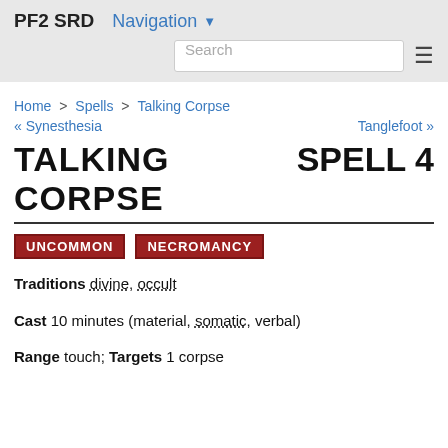PF2 SRD   Navigation
Search
Home > Spells > Talking Corpse
« Synesthesia   Tanglefoot »
TALKING CORPSE   SPELL 4
UNCOMMON   NECROMANCY
Traditions divine, occult
Cast 10 minutes (material, somatic, verbal)
Range touch; Targets 1 corpse